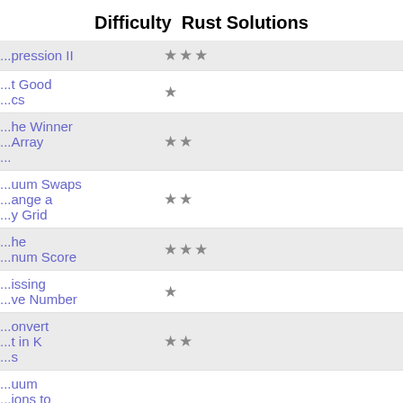Difficulty  Rust Solutions
| Problem | Difficulty | Solutions |
| --- | --- | --- |
| ...pression II | ★★★ |  |
| ...t Good
...cs | ★ |  |
| ...he Winner
...Array
... | ★★ |  |
| ...uum Swaps
...ange a
...y Grid | ★★ |  |
| ...he
...num Score | ★★★ |  |
| ...issing
...ve Number | ★ |  |
| ...onvert
...t in K
...s | ★★ |  |
| ...uum
...ions to
...ce a
...theses
... | ★★ |  |
| ...ongest
...ome | ★★★ |  |